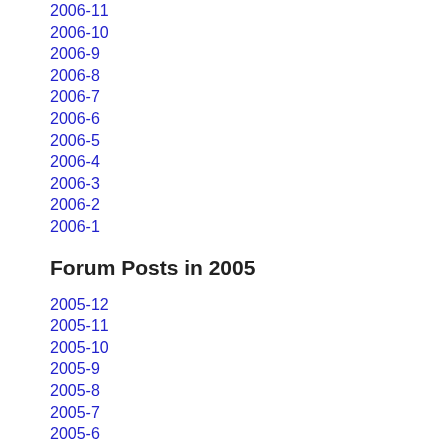2006-11
2006-10
2006-9
2006-8
2006-7
2006-6
2006-5
2006-4
2006-3
2006-2
2006-1
Forum Posts in 2005
2005-12
2005-11
2005-10
2005-9
2005-8
2005-7
2005-6
2005-5
2005-4
2005-3
2005-2
2005-1
Forum Posts in 2004
2004-12
2004-11
2004-10
2004-9